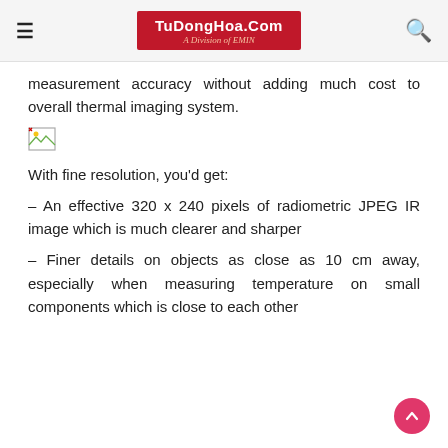TuDongHoa.Com — A Division of EMIN
measurement accuracy without adding much cost to overall thermal imaging system.
[Figure (photo): Broken/missing image placeholder icon]
With fine resolution, you'd get:
– An effective 320 x 240 pixels of radiometric JPEG IR image which is much clearer and sharper
– Finer details on objects as close as 10 cm away, especially when measuring temperature on small components which is close to each other